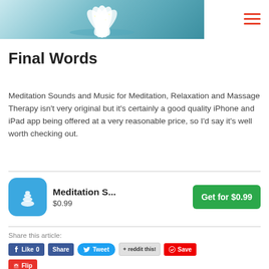[Figure (photo): Partial top image showing a lotus flower on water with a teal/blue gradient background and a tablet device on the right side]
Final Words
Meditation Sounds and Music for Meditation, Relaxation and Massage Therapy isn't very original but it's certainly a good quality iPhone and iPad app being offered at a very reasonable price, so I'd say it's well worth checking out.
[Figure (other): App card showing Meditation S... app icon (blue rounded square with white stacked stones silhouette), title 'Meditation S...', price '$0.99', and a green 'Get for $0.99' button]
Share this article:
Like 0  Share  Tweet  + reddit this!  Save  Flip